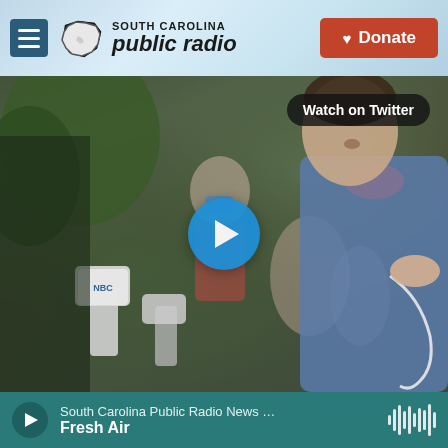South Carolina Public Radio — Donate
[Figure (screenshot): Video thumbnail showing a man being interviewed by reporters with microphones at an outdoor press gathering. A 'Watch on Twitter' badge appears in the top right, and a circular blue play button is centered on the image.]
South Carolina Public Radio News ... Fresh Air